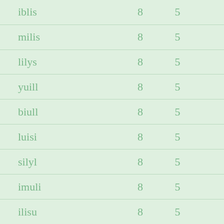| iblis | 8 | 5 |
| milis | 8 | 5 |
| lilys | 8 | 5 |
| yuill | 8 | 5 |
| biull | 8 | 5 |
| luisi | 8 | 5 |
| silyl | 8 | 5 |
| imuli | 8 | 5 |
| ilisu | 8 | 5 |